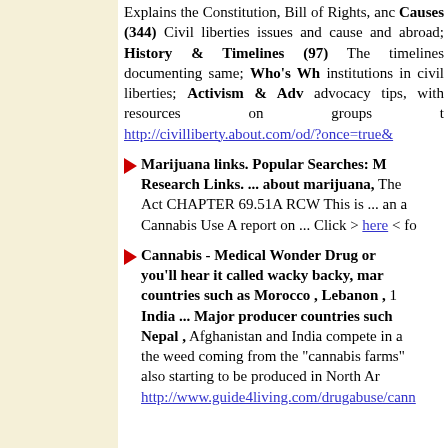(25) An Introduction to Civil Liberty, The... Explains the Constitution, Bill of Rights, and... Causes (344) Civil liberties issues and causes... and abroad; History & Timelines (97) The timelines documenting same; Who's Who... institutions in civil liberties; Activism & Adv... advocacy tips, with resources on groups t... http://civilliberty.about.com/od/?once=true&...
Marijuana links. Popular Searches: M... Research Links. ... about marijuana, The Act CHAPTER 69.51A RCW This is ... an a... Cannabis Use A report on ... Click > here < fo...
Cannabis - Medical Wonder Drug or... you'll hear it called wacky backy, mar... countries such as Morocco , Lebanon , ... India ... Major producer countries such Nepal , Afghanistan and India compete in a... the weed coming from the "cannabis farms"... also starting to be produced in North Ar... http://www.guide4living.com/drugabuse/cann...